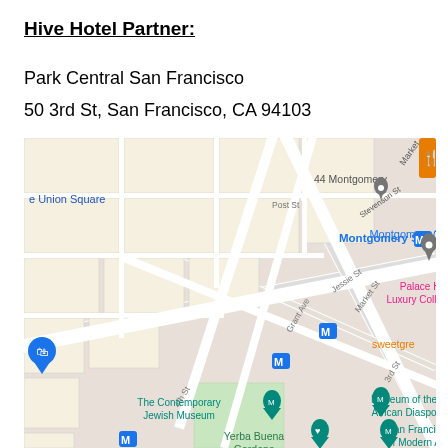Hive Hotel Partner:
Park Central San Francisco
50 3rd St, San Francisco, CA 94103
[Figure (map): Google Maps screenshot showing the area around 50 3rd St, San Francisco, CA 94103. Visible landmarks include Union Square, Montgomery St subway station, Palace Hotel A Luxury Collection, The Contemporary Jewish Museum, Museum of the African Diaspora, San Francisco Museum of Modern Art, Yerba Buena Gardens, Grant Ave, Market St, Jessie St, Post St, 4th St, 3rd St, Stevenson St, 44 Montgomery, and sweetgreen. Map pins shown in gray, pink, teal, blue, and orange.]